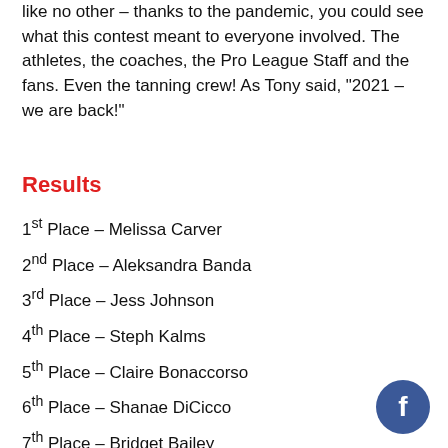like no other – thanks to the pandemic, you could see what this contest meant to everyone involved. The athletes, the coaches, the Pro League Staff and the fans. Even the tanning crew! As Tony said, "2021 – we are back!"
Results
1st Place – Melissa Carver
2nd Place – Aleksandra Banda
3rd Place – Jess Johnson
4th Place – Steph Kalms
5th Place – Claire Bonaccorso
6th Place – Shanae DiCicco
7th Place – Bridget Bailey
8th Place – Jade McKee
9th Place – Katie Morris
[Figure (logo): Facebook logo icon - circular dark blue button with white 'f']